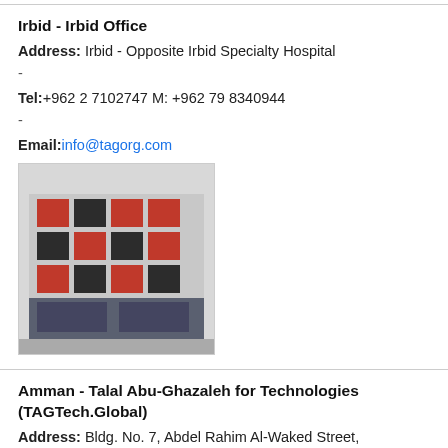Irbid - Irbid Office
Address: Irbid - Opposite Irbid Specialty Hospital
-
Tel:+962 2 7102747 M: +962 79 8340944
-
Email:info@tagorg.com
[Figure (photo): Photo of a building with red and black checkered facade panels]
Amman - Talal Abu-Ghazaleh for Technologies (TAGTech.Global)
Address: Bldg. No. 7, Abdel Rahim Al-Waked Street, Shmeisani, Amman, Jordan
P.O.Box:921100 Amman, 11192, Jordan
Tel:+962 6 5100 250
Fax:+962 6 5100 901
Email:info@tagtech.global